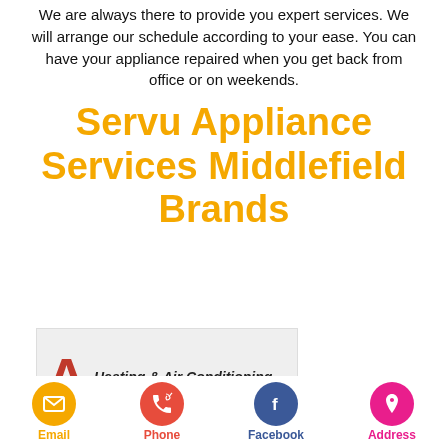We are always there to provide you expert services. We will arrange our schedule according to your ease. You can have your appliance repaired when you get back from office or on weekends.
Servu Appliance Services Middlefield Brands
[Figure (logo): A Heating & Air Conditioning company logo with a red letter A and italic text]
Email  Phone  Facebook  Address